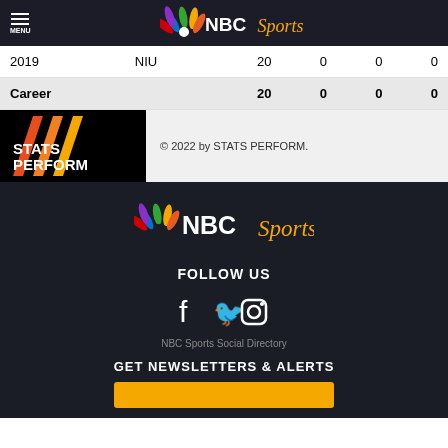NBC Sports
| Year | Team | Col3 | Col4 | Col5 | Col6 |
| --- | --- | --- | --- | --- | --- |
| 2019 | NIU | 20 | 0 | 0 | 0 |
| Career |  | 20 | 0 | 0 | 0 |
[Figure (logo): STATS PERFORM logo with orange/red diagonal stripes on black background]
© 2022 by STATS PERFORM.
[Figure (logo): NBC Sports logo on dark background]
FOLLOW US
[Figure (infographic): Social media icons: Facebook, Twitter, Instagram]
NBC Sports Social Directory
GET NEWSLETTERS & ALERTS